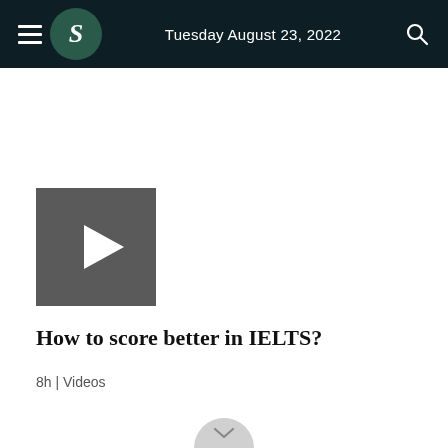Tuesday August 23, 2022
[Figure (screenshot): Video thumbnail with dark grey background and white play button triangle]
How to score better in IELTS?
8h | Videos